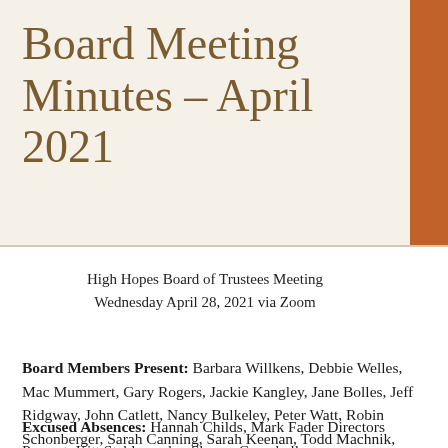Board Meeting Minutes – April 2021
High Hopes Board of Trustees Meeting
Wednesday April 28, 2021 via Zoom
Board Members Present: Barbara Willkens, Debbie Welles, Mac Mummert, Gary Rogers, Jackie Kangley, Jane Bolles, Jeff Ridgway, John Catlett, Nancy Bulkeley, Peter Watt, Robin Schonberger, Sarah Canning, Sarah Keenan, Todd Machnik, Scott Douglas, Gregory Varga, Vicki Newton
Excused Absences: Hannah Childs, Mark Fader Directors Present: Kitt Stablepaeder, Sharon Campbell...